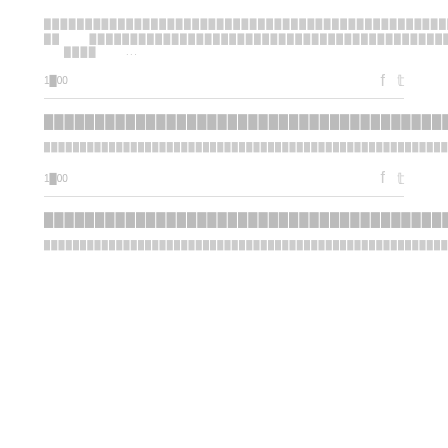████████████████████████████████████    ████████████████████████████████████████
██  ██████████████████████████████████████████████  ██████████████
████  ...
1█00
████████████████████████████████████████████████
████████████████████████████████████████████████████████████████████████████████████████████████████████████████████████████████████████████████████████████████████████████████████
1█00
████████████████████████████████████████████████
████████████████████████████████████████████████████████████████████████████████████████████████████████████████████████